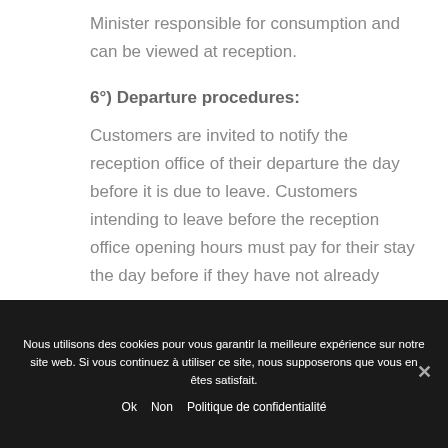Minister responsible for consumption and can be viewed at reception.
6°) Departure procedures:
Customers are invited to notify the reception office of their departure the day before it is due to leave. Customers intending to leave before the reception office opening hours must pay for their stay the day before if they have not already
Nous utilisons des cookies pour vous garantir la meilleure expérience sur notre site web. Si vous continuez à utiliser ce site, nous supposerons que vous en êtes satisfait.
Ok  Non  Politique de confidentialité